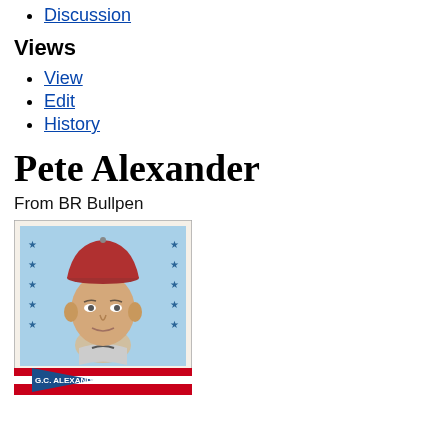Discussion
Views
View
Edit
History
Pete Alexander
From BR Bullpen
[Figure (photo): Vintage baseball card showing G.C. Alexander in a red-brimmed cap and grey uniform, with blue stars on the sides and a blue pennant at the bottom reading 'G.C. ALEXANDER', light blue background.]